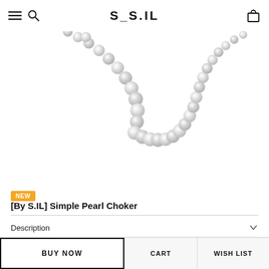S_S.IL
[Figure (photo): Pearl choker necklace displayed against a white background, showing a strand of round white/cream pearls arranged in a U-shape curve.]
NEW
[By S.IL] Simple Pearl Choker
Description
Size Detail
BUY NOW   CART   WISH LIST